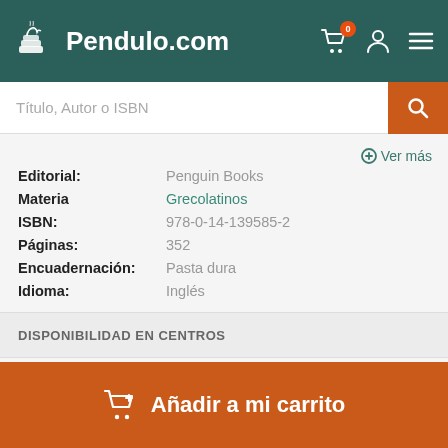Pendulo.com
Título, Autor o ISBN
Ver más
| Campo | Valor |
| --- | --- |
| Editorial: | Penguin Books |
| Materia | Grecolatinos |
| ISBN: | 978-0-14-139585-2 |
| Páginas: | 352 |
| Encuadernación: | Pasta dura |
| Idioma: | Inglés |
DISPONIBILIDAD EN CENTROS
Añadir a mi carrito